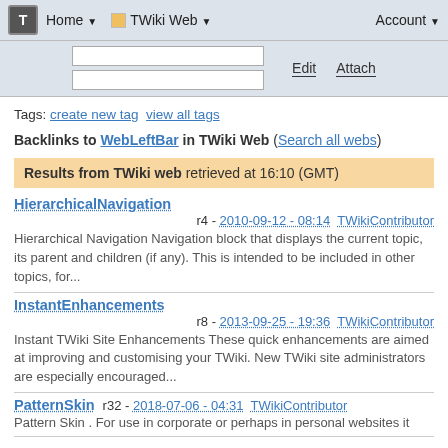T  Home ▼  TWiki Web ▼  Account ▼
Tags: create new tag  view all tags
Backlinks to WebLeftBar in TWiki Web (Search all webs)
Results from TWiki web retrieved at 16:10 (GMT)
HierarchicalNavigation
r4 - 2010-09-12 - 08:14  TWikiContributor
Hierarchical Navigation Navigation block that displays the current topic, its parent and children (if any). This is intended to be included in other topics, for...
InstantEnhancements
r8 - 2013-09-25 - 19:36  TWikiContributor
Instant TWiki Site Enhancements These quick enhancements are aimed at improving and customising your TWiki. New TWiki site administrators are especially encouraged...
PatternSkin  r32 - 2018-07-06 - 04:31  TWikiContributor
Pattern Skin . For use in corporate or perhaps in personal websites it